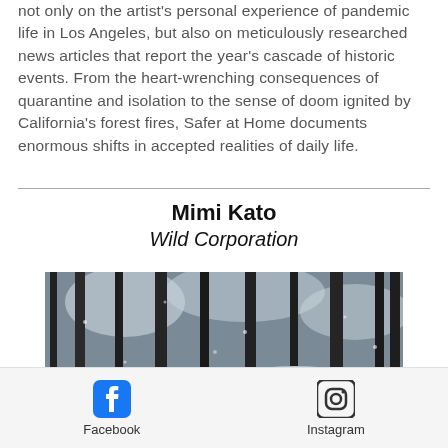not only on the artist's personal experience of pandemic life in Los Angeles, but also on meticulously researched news articles that report the year's cascade of historic events. From the heart-wrenching consequences of quarantine and isolation to the sense of doom ignited by California's forest fires, Safer at Home documents enormous shifts in accepted realities of daily life.
Mimi Kato
Wild Corporation
[Figure (photo): A snowy forest scene with dark tree trunks, snow-covered rocks and ground, and figures visible at the bottom of the image.]
Facebook   Instagram